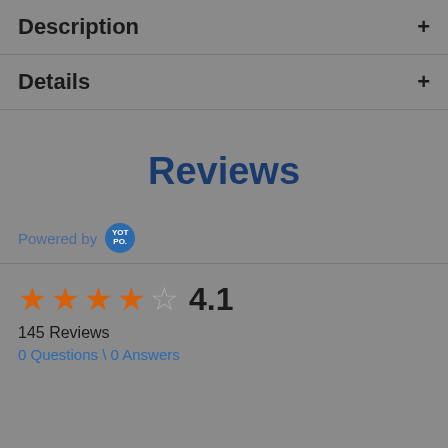Description +
Details +
Reviews
Powered by YOTPO
★★★★☆ 4.1
145 Reviews
0 Questions \ 0 Answers